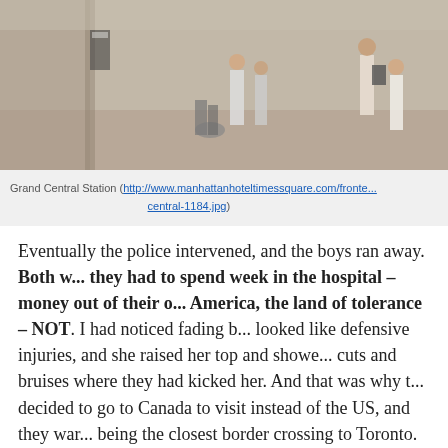[Figure (photo): Photo of Grand Central Station interior with people walking]
Grand Central Station (http://www.manhattanhoteltimessquare.com/frontе...central-1184.jpg)
Eventually the police intervened, and the boys ran away. Both w... they had to spend week in the hospital – money out of their o... America, the land of tolerance – NOT. I had noticed fading b... looked like defensive injuries, and she raised her top and showe... cuts and bruises where they had kicked her. And that was why t... decided to go to Canada to visit instead of the US, and they war... being the closest border crossing to Toronto. Apparently Mark h... they decided while in the ladies room to take a chance and go a...
When we stopped for supper, Mark said he was tired of Ute – sh... to switch, which we did. Ute and Elizabeth were talking on the ...